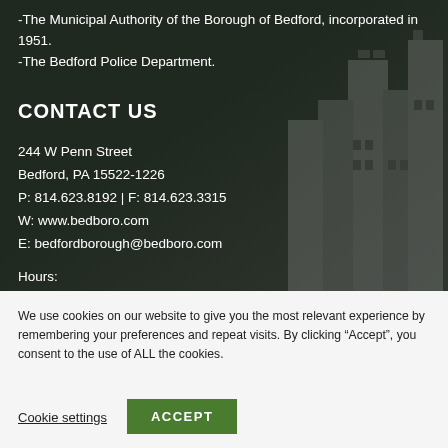-The Municipal Authority of the Borough of Bedford, incorporated in 1951.
-The Bedford Police Department.
CONTACT US
244 W Penn Street
Bedford, PA 15522-1226
P: 814.623.8192 | F: 814.623.3315
W: www.bedboro.com
E: bedfordborough@bedboro.com
Hours:
Monday-Thursday 8 a.m.-...
We use cookies on our website to give you the most relevant experience by remembering your preferences and repeat visits. By clicking “Accept”, you consent to the use of ALL the cookies.
Cookie settings
ACCEPT